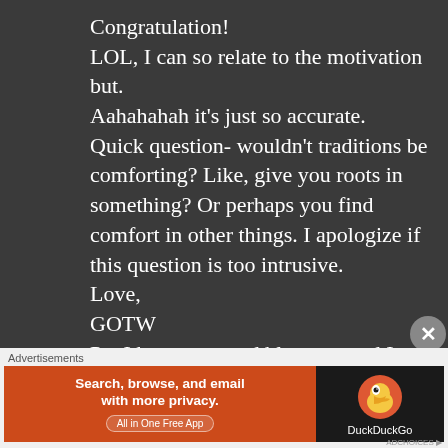Congratulation!
LOL, I can so relate to the motivation but.
Aahahahah it’s just so accurate.
Quick question- wouldn’t traditions be comforting? Like, give you roots in something? Or perhaps you find comfort in other things. I apologize if this question is too intrusive.
Love,
GOTW
Ps- I have a second blog too, and I would love love love it if you
Advertisements
[Figure (other): DuckDuckGo advertisement banner: orange left side with text 'Search, browse, and email with more privacy. All in One Free App', black right side with DuckDuckGo duck logo and name.]